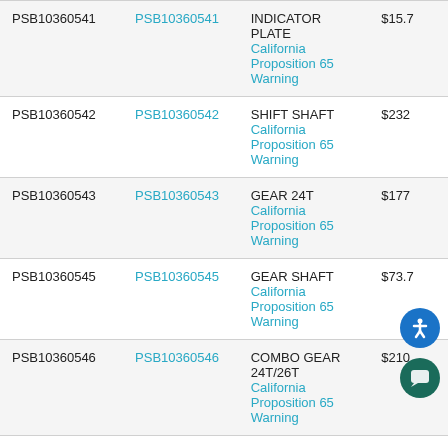| SKU | Part Number | Description | Price |
| --- | --- | --- | --- |
| PSB10360541 | PSB10360541 | INDICATOR PLATE
California Proposition 65 Warning | $15.7 |
| PSB10360542 | PSB10360542 | SHIFT SHAFT
California Proposition 65 Warning | $232 |
| PSB10360543 | PSB10360543 | GEAR 24T
California Proposition 65 Warning | $177 |
| PSB10360545 | PSB10360545 | GEAR SHAFT
California Proposition 65 Warning | $73.7 |
| PSB10360546 | PSB10360546 | COMBO GEAR 24T/26T
California Proposition 65 Warning | $210 |